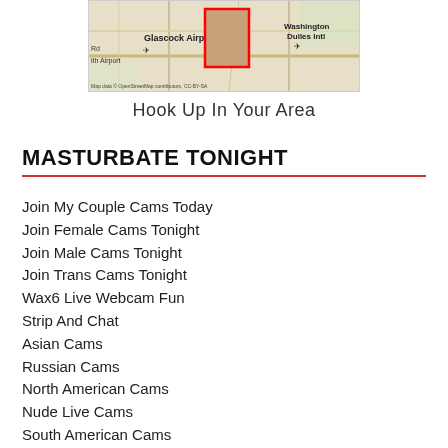[Figure (map): Map screenshot showing area around Glascock Airport and Washington Dulles Intl, with a red-bordered image overlay in the center. Map data credit: OpenStreetMap contributors, CC-BY-SA]
Hook Up In Your Area
MASTURBATE TONIGHT
Join My Couple Cams Today
Join Female Cams Tonight
Join Male Cams Tonight
Join Trans Cams Tonight
Wax6 Live Webcam Fun
Strip And Chat
Asian Cams
Russian Cams
North American Cams
Nude Live Cams
South American Cams